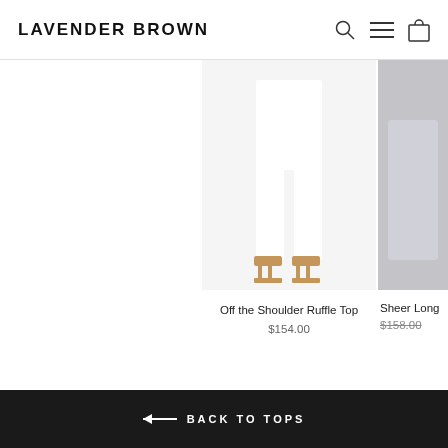LAVENDER BROWN
[Figure (photo): Product image of Off the Shoulder Ruffle Top — model wearing white pants and tan strappy sandals, partial view from waist down]
Off the Shoulder Ruffle Top
$154.00
[Figure (photo): Partial product image of Sheer Long [sleeve item] — partially cropped on right edge, appears to be a denim or dark garment]
Sheer Long
$158.00
← BACK TO TOPS